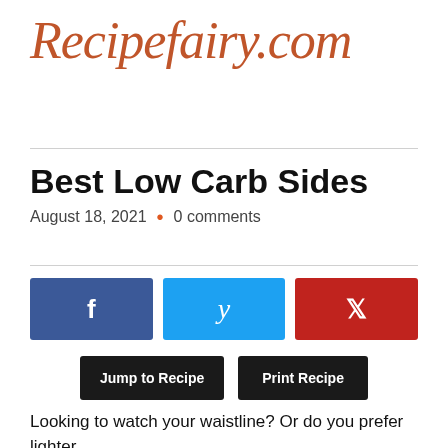Recipefairy.com
Best Low Carb Sides
August 18, 2021  •  0 comments
[Figure (other): Social share buttons: Facebook (blue), Twitter (light blue), Pinterest (red)]
[Figure (other): Action buttons: Jump to Recipe, Print Recipe]
Looking to watch your waistline? Or do you prefer lighter dinners? Sometimes you want something a little less filling. It's ok. We've got you covered. Today we will whizz